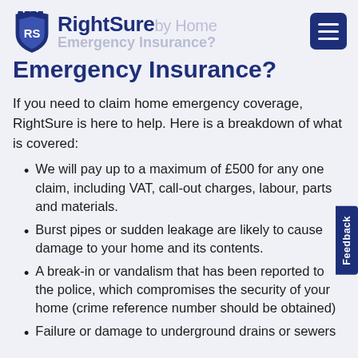RightSure by Home Emergency Insurance?
Emergency Insurance?
If you need to claim home emergency coverage, RightSure is here to help. Here is a breakdown of what is covered:
We will pay up to a maximum of £500 for any one claim, including VAT, call-out charges, labour, parts and materials.
Burst pipes or sudden leakage are likely to cause damage to your home and its contents.
A break-in or vandalism that has been reported to the police, which compromises the security of your home (crime reference number should be obtained)
Failure or damage to underground drains or sewers